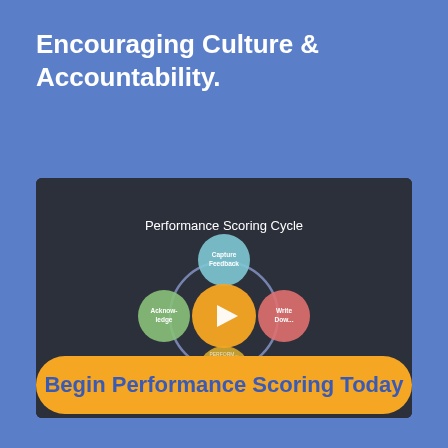Encouraging Culture & Accountability.
[Figure (screenshot): Screenshot of a video thumbnail showing a 'Performance Scoring Cycle' diagram with four colored circles (blue: 'Capture Feedback', green: 'Acknowledgement', red: 'Write Down...', yellow: 'Write Calibrate') arranged around a central orange circle with a play button, connected by a circular arrow. Title text reads 'Performance Scoring Cycle'.]
Begin Performance Scoring Today